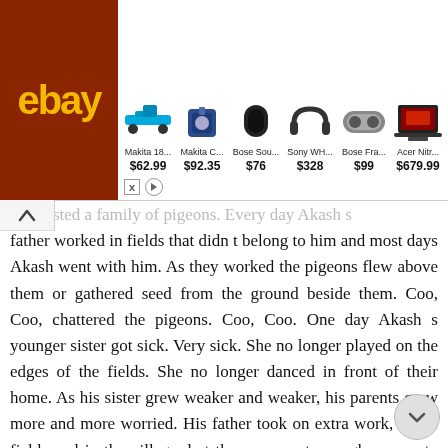[Figure (screenshot): eBay advertisement banner showing products: Makita 18... $62.99, Makita C... $92.35, Bose Sou... $76, Sony WH... $328, Bose Fra... $99, Acer Nitr... $679.99]
oof nested a family of pigeons. Every day Akash s father worked in fields that didn t belong to him and most days Akash went with him. As they worked the pigeons flew above them or gathered seed from the ground beside them. Coo, Coo, chattered the pigeons. Coo, Coo. One day Akash s younger sister got sick. Very sick. She no longer played on the edges of the fields. She no longer danced in front of their home. As his sister grew weaker and weaker, his parents grew more and more worried. His father took on extra work, in the fields and in the village, but there was not enough money to buy the medicine Akash s sister needed. His mother visited all the big houses in the nearby area and asked for work washing clothes or cleaning but there was still not enough money for the medicine Akash s sister needed. The, one afternoon a tall man arrived from the city. He wore shiny black shoes and a shiny gold watch. He spoke with Akash s